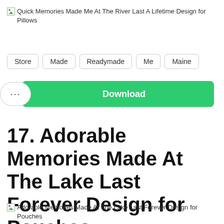[Figure (illustration): Broken image placeholder for 'Quick Memories Made Me At The River Last A Lifetime Design for Pillows']
Store
Made
Readymade
Me
Maine
... Download
17. Adorable Memories Made At The Lake Last Forever Design for Pouches
[Figure (illustration): Broken image placeholder for 'Adorable Memories Made At The Lake Last Forever Design for Pouches']